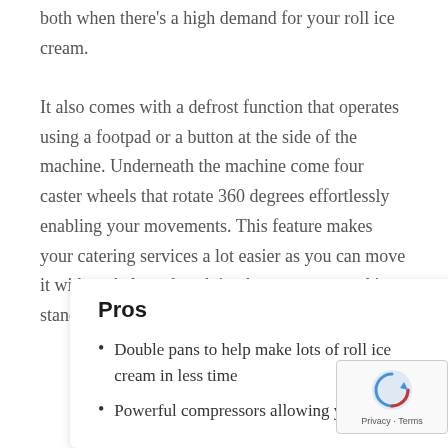both when there's a high demand for your roll ice cream. It also comes with a defrost function that operates using a footpad or a button at the side of the machine. Underneath the machine come four caster wheels that rotate 360 degrees effortlessly enabling your movements. This feature makes your catering services a lot easier as you can move it without help and pack it wherever you need it to stand.
Pros
Double pans to help make lots of roll ice cream in less time
Powerful compressors allowing you to